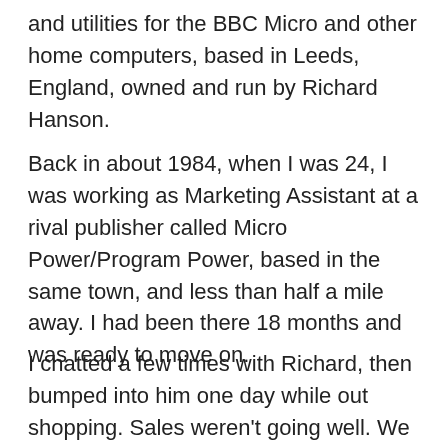and utilities for the BBC Micro and other home computers, based in Leeds, England, owned and run by Richard Hanson.
Back in about 1984, when I was 24, I was working as Marketing Assistant at a rival publisher called Micro Power/Program Power, based in the same town, and less than half a mile away. I had been there 18 months and was ready to move on.
I chatted a few times with Richard, then bumped into him one day while out shopping. Sales weren't going well. We were both into music, so he suggested we set up a shop in Leeds selling LPs and singles (this